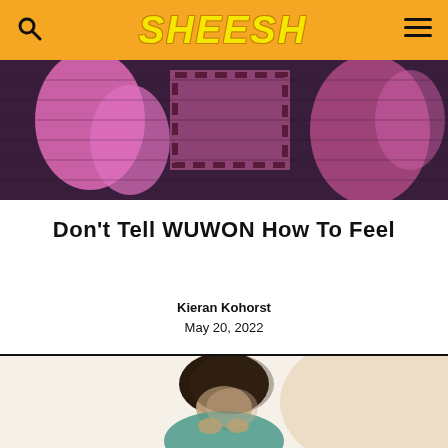SHEESH
[Figure (photo): Abstract pop-art style banner image showing figures in pink and dark purple tones]
Don't Tell WUWON How To Feel
Kieran Kohorst
May 20, 2022
[Figure (photo): Photo of a person with dark hair looking downward, wearing a teal/green top, slightly blurred motion effect, against a light background]